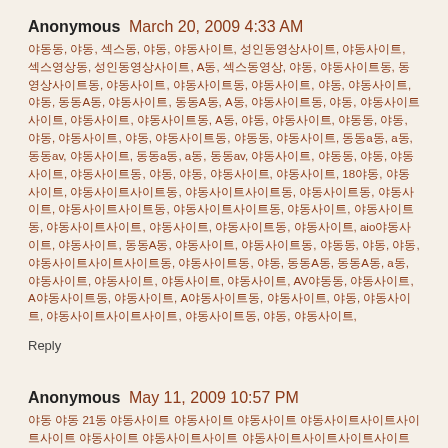Anonymous  March 20, 2009 4:33 AM
동영상, 야동, 섹스, 야동, 성인동영상, 성인동영상사이트, 야동사이트, 섹스영상, 성인동영상사이트, A동, 섹스영상, 야동, 야동사이트, 동영상사이트, 야동사이트, 성인동영상, 야동, 섹스사이트, 섹스동영상, 야동사이트, 성인동영상, 야동사이트, 야동, 야동, 동동A동, 야동사이트, 동동A동, A동, 동영상사이트, 야동, 동영상사이트, 야동사이트, 동영상사이트, A동, 야동, 야동사이트, 야동, 야동, 야동사이트, 야동, 야동, 야동사이트, 야동, 야동사이트, 동동a동, a동, 동동av, 야동사이트, 동동a동, a동, 동동av, 야동사이트, 야동, 야동사이트, 야동사이트, 야동, 야동, 야동사이트, 야동사이트, 18야동, 야동사이트, 야동사이트사이트, 야동사이트사이트, 야동사이트, 야동사이트, 야동사이트사이트사이트, 야동사이트, 야동, 야동사이트, 야동, 야동, 야동사이트, 야동사이트, 야동사이트, 야동사이트, aio야동사이트, 야동사이트, 동동A동, 야동사이트, 야동야동, 야동, 야동, 야동사이트사이트, 야동사이트, 야동, 동동A동, 동동A동, a동, 야동사이트, 야동사이트, 야동사이트, 야동사이트, AV야동, 야동사이트, A야동사이트, 야동, A야동사이트, 야동사이트, 야동, 야동사이트, 야동사이트사이트, 야동사이트, 야동, 야동사이트,
Reply
Anonymous  May 11, 2009 10:57 PM
야동 야동 21동 야동사이트 야동사이트 야동사이트 야동사이트사이트사이트사이트 야동사이트 야동사이트사이트 야동사이트사이트 야동사이트사이트사이트사이트사이트사이트사이트 야동사이트 야동 야동사이트 야동사이트 야동사이트 동동a동 a동 동동av 야동사이트 야동 야동 야동사이트 야동 야동사이트사이트사이트사이트사이트사이트사이트사이트 18야동 av av동동avav동동동 야동 야동 야동 sex H야동 야동 야동사이트 야동 a동 a동 야동사이트 야동사이트 야동사이트 야동사이트 야동사이트사이트사이트 야동사이트사이트사이트 야동사이트사이트사이트 야동사이트
Reply